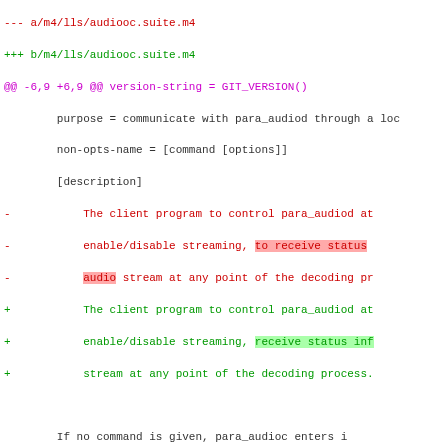[Figure (screenshot): A git diff view showing changes to m4/lls/audiooc.suite.m4 and m4/lls/filter.suite.m4 files with red removed lines and green added lines, some with highlighted background.]